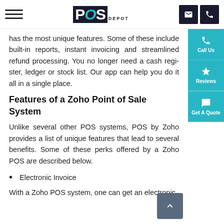POS DEPOT header with hamburger menu and contact icons
has the most unique features. Some of these include built-in reports, instant invoicing and streamlined refund processing. You no longer need a cash register, ledger or stock list. Our app can help you do it all in a single place.
Features of a Zoho Point of Sale System
Unlike several other POS systems, POS by Zoho provides a list of unique features that lead to several benefits. Some of these perks offered by a Zoho POS are described below.
Electronic Invoice
With a Zoho POS system, one can get an electronic